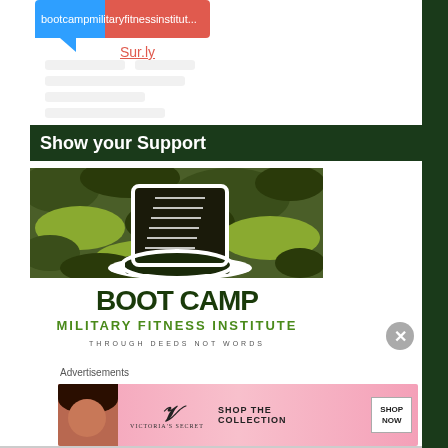[Figure (logo): Partial Disqus logo with bootcampmilitaryfitnessinstitu... text and a chat bubble shape]
Sur.ly
Show your Support
[Figure (logo): Boot Camp Military Fitness Institute logo with camouflage background and military boot, text: BOOT CAMP MILITARY FITNESS INSTITUTE THROUGH DEEDS NOT WORDS]
Advertisements
[Figure (photo): Victoria's Secret advertisement banner with model, VS logo, SHOP THE COLLECTION text, and SHOP NOW button]